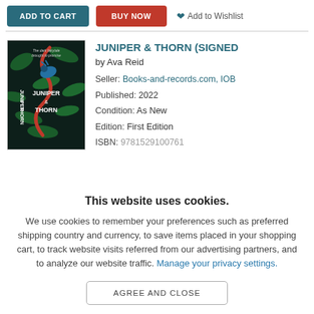[Figure (screenshot): E-commerce product page screenshot showing ADD TO CART button (teal), BUY NOW button (red), and Add to Wishlist link at the top, followed by a book listing for Juniper & Thorn (Signed) by Ava Reid with book cover image and product details, partially overlaid by a cookie consent dialog.]
JUNIPER & THORN (SIGNED
by Ava Reid
Seller:  Books-and-records.com, IOB
Published:  2022
Condition:  As New
Edition:  First Edition
ISBN:  9781529100761
This website uses cookies.
We use cookies to remember your preferences such as preferred shipping country and currency, to save items placed in your shopping cart, to track website visits referred from our advertising partners, and to analyze our website traffic. Manage your privacy settings.